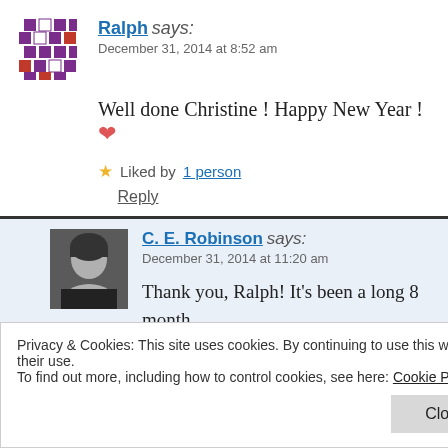Ralph says:
December 31, 2014 at 8:52 am
Well done Christine ! Happy New Year ! ❤
Liked by 1 person
Reply
C. E. Robinson says:
December 31, 2014 at 11:20 am
Thank you, Ralph! It's been a long 8 month… I've learned a lot about the organization an…
Privacy & Cookies: This site uses cookies. By continuing to use this website, you agree to their use.
To find out more, including how to control cookies, see here: Cookie Policy
Close and accept